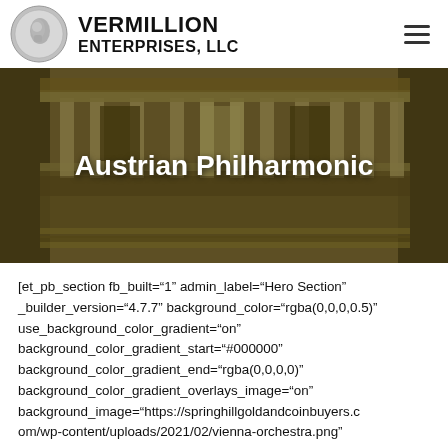[Figure (logo): Vermillion Enterprises LLC logo with coin image and bold text]
[Figure (photo): Austrian Philharmonic coin hero banner showing ornate building facade engraving with 'Austrian Philharmonic' title overlay]
[et_pb_section fb_built="1" admin_label="Hero Section" _builder_version="4.7.7" background_color="rgba(0,0,0,0.5)" use_background_color_gradient="on" background_color_gradient_start="#000000" background_color_gradient_end="rgba(0,0,0,0)" background_color_gradient_overlays_image="on" background_image="https://springhillgoldandcoinbuyers.com/wp-content/uploads/2021/02/vienna-orchestra.png"